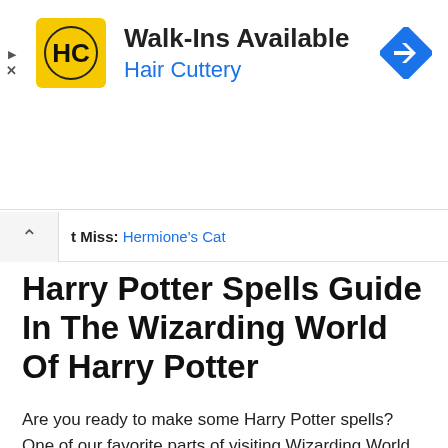[Figure (logo): Hair Cuttery advertisement banner with HC logo, 'Walk-Ins Available' text, 'Hair Cuttery' subtitle in blue, and a blue navigation arrow icon on the right]
Don't Miss: Hermione's Cat
Harry Potter Spells Guide In The Wizarding World Of Harry Potter
Are you ready to make some Harry Potter spells? One of our favorite parts of visiting Wizarding World of Harry Potter is the interactive wand spell locations. My kids love this part of the experience. You become a wizard!
You can purchase an interactive wand to perform Harry Potter spells from numerous locations throughout Universal Orlando Resort, including CityWalk and Universal